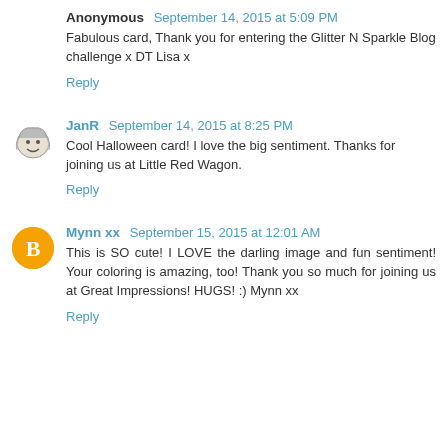Anonymous  September 14, 2015 at 5:09 PM
Fabulous card, Thank you for entering the Glitter N Sparkle Blog challenge x DT Lisa x
Reply
[Figure (illustration): Small circular avatar with hand-drawn smiley face illustration]
JanR  September 14, 2015 at 8:25 PM
Cool Halloween card! I love the big sentiment. Thanks for joining us at Little Red Wagon.
Reply
[Figure (logo): Orange circle with white letter B (Blogger logo)]
Mynn xx  September 15, 2015 at 12:01 AM
This is SO cute! I LOVE the darling image and fun sentiment! Your coloring is amazing, too! Thank you so much for joining us at Great Impressions! HUGS! :) Mynn xx
Reply